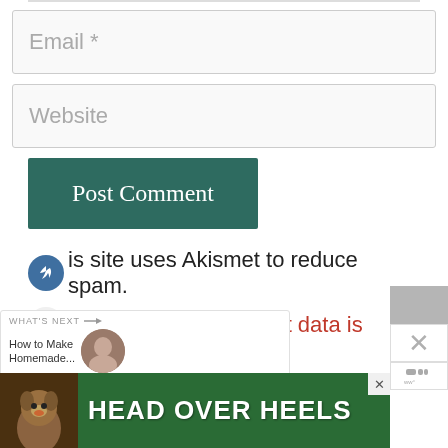[Figure (screenshot): Email input field placeholder]
[Figure (screenshot): Website input field placeholder]
[Figure (screenshot): Post Comment button (dark teal)]
This site uses Akismet to reduce spam.
Learn how your comment data is processed.
[Figure (screenshot): What's Next widget: How to Make Homemade...]
[Figure (screenshot): HEAD OVER HEELS advertisement banner]